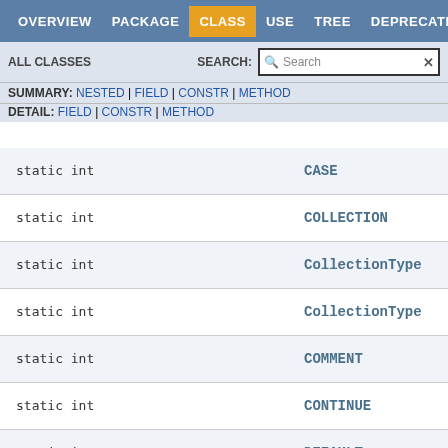OVERVIEW | PACKAGE | CLASS | USE | TREE | DEPRECATED
ALL CLASSES | SEARCH:
SUMMARY: NESTED | FIELD | CONSTR | METHOD | DETAIL: FIELD | CONSTR | METHOD
| Type | Field |
| --- | --- |
| static int | CASE |
| static int | COLLECTION |
| static int | CollectionType |
| static int | CollectionType |
| static int | COMMENT |
| static int | CONTINUE |
| static int | DEFAULT |
| static int | DELETE |
| static int | DIGIT |
| static int | DRIVER |
| static int | ELSE |
| static int | ENUMERATION |